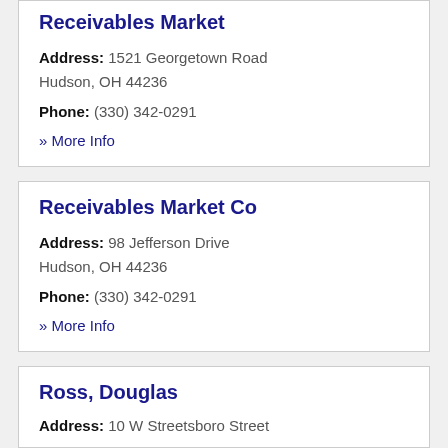Receivables Market
Address: 1521 Georgetown Road Hudson, OH 44236
Phone: (330) 342-0291
» More Info
Receivables Market Co
Address: 98 Jefferson Drive Hudson, OH 44236
Phone: (330) 342-0291
» More Info
Ross, Douglas
Address: 10 W Streetsboro Street